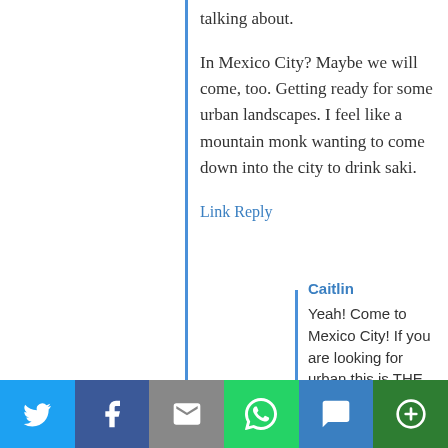talking about.
In Mexico City? Maybe we will come, too. Getting ready for some urban landscapes. I feel like a mountain monk wanting to come down into the city to drink saki.
Link Reply
Caitlin
Yeah! Come to Mexico City! If you are looking for urban this is THE urban. It boggles my brain